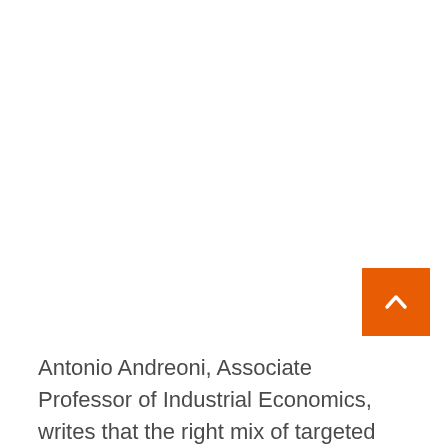[Figure (other): Orange scroll-to-top button with white chevron arrow in bottom-right area of page]
Antonio Andreoni, Associate Professor of Industrial Economics, writes that the right mix of targeted